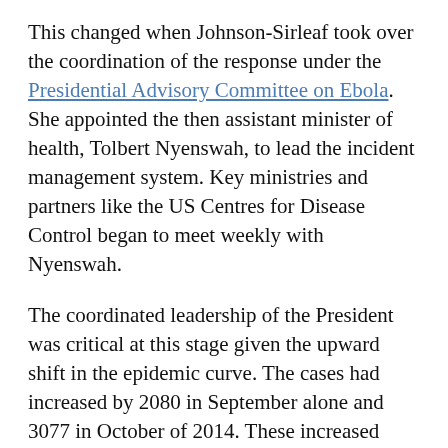This changed when Johnson-Sirleaf took over the coordination of the response under the Presidential Advisory Committee on Ebola. She appointed the then assistant minister of health, Tolbert Nyenswah, to lead the incident management system. Key ministries and partners like the US Centres for Disease Control began to meet weekly with Nyenswah.
The coordinated leadership of the President was critical at this stage given the upward shift in the epidemic curve. The cases had increased by 2080 in September alone and 3077 in October of 2014. These increased number of cases would have threatened the peace and security of the country had the President not taken over the direct coordination of the response.